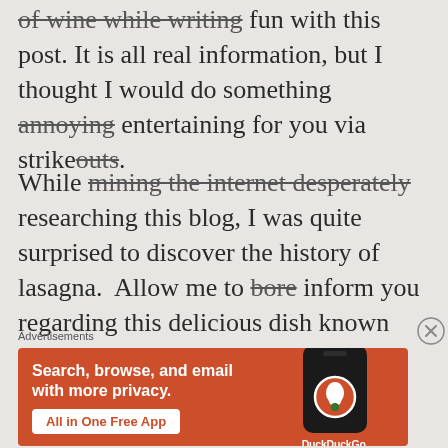of wine while writing fun with this post. It is all real information, but I thought I would do something annoying entertaining for you via strikeouts.
While mining the internet desperately researching this blog, I was quite surprised to discover the history of lasagna. Allow me to bore inform you regarding this delicious dish known
Advertisements
[Figure (infographic): DuckDuckGo advertisement banner with orange background. Text: 'Search, browse, and email with more privacy. All in One Free App' with DuckDuckGo logo on a phone graphic.]